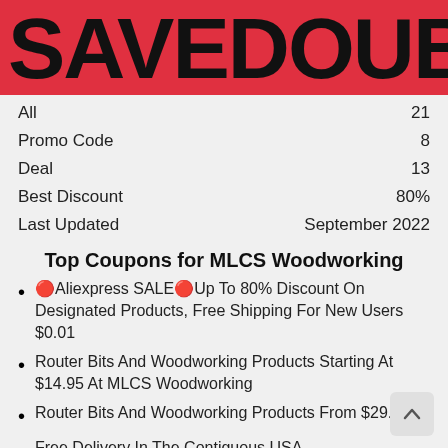SAVEDOUB
All  21
Promo Code  8
Deal  13
Best Discount  80%
Last Updated  September 2022
Top Coupons for MLCS Woodworking
🔴Aliexpress SALE🔴Up To 80% Discount On Designated Products, Free Shipping For New Users $0.01
Router Bits And Woodworking Products Starting At $14.95 At MLCS Woodworking
Router Bits And Woodworking Products From $29.95
Free Delivery In The Contiguous USA
$2 Off Everything